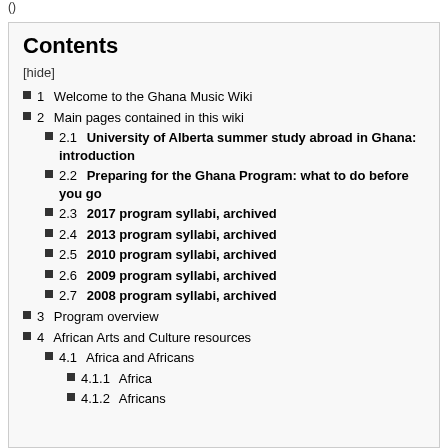Contents
[hide]
1  Welcome to the Ghana Music Wiki
2  Main pages contained in this wiki
2.1  University of Alberta summer study abroad in Ghana: introduction
2.2  Preparing for the Ghana Program: what to do before you go
2.3  2017 program syllabi, archived
2.4  2013 program syllabi, archived
2.5  2010 program syllabi, archived
2.6  2009 program syllabi, archived
2.7  2008 program syllabi, archived
3  Program overview
4  African Arts and Culture resources
4.1  Africa and Africans
4.1.1  Africa
4.1.2  Africans